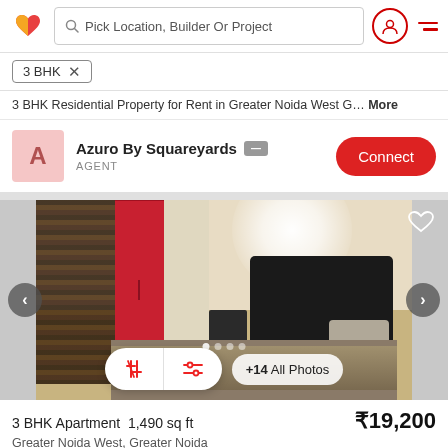Pick Location, Builder Or Project
3 BHK ×
3 BHK Residential Property for Rent in Greater Noida West G… More
Azuro By Squareyards — AGENT
[Figure (photo): Bedroom interior photo showing a red wardrobe, patterned curtains, dark headboard bed, and bright ceiling light]
3 BHK Apartment 1,490 sq ft  ₹19,200
Greater Noida West, Greater Noida